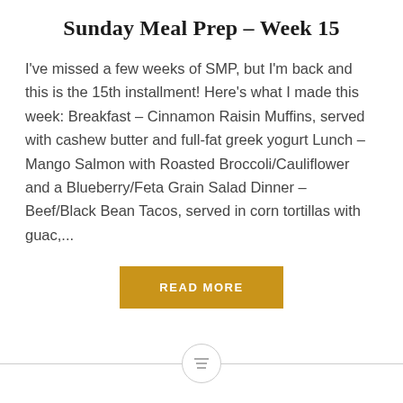Sunday Meal Prep – Week 15
I've missed a few weeks of SMP, but I'm back and this is the 15th installment! Here's what I made this week: Breakfast – Cinnamon Raisin Muffins, served with cashew butter and full-fat greek yogurt Lunch – Mango Salmon with Roasted Broccoli/Cauliflower and a Blueberry/Feta Grain Salad Dinner – Beef/Black Bean Tacos, served in corn tortillas with guac,...